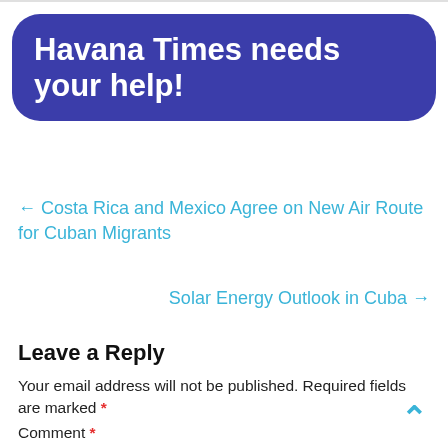[Figure (other): Blue rounded rectangle banner with white bold text reading 'Havana Times needs your help!']
← Costa Rica and Mexico Agree on New Air Route for Cuban Migrants
Solar Energy Outlook in Cuba →
Leave a Reply
Your email address will not be published. Required fields are marked *
Comment *